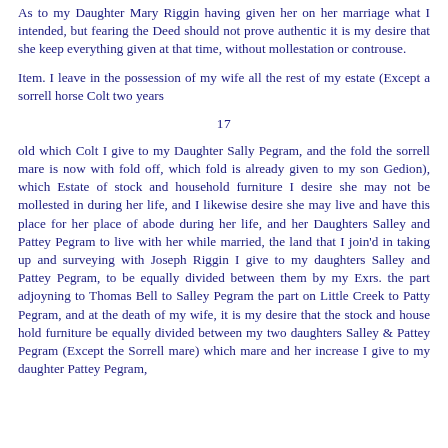As to my Daughter Mary Riggin having given her on her marriage what I intended, but fearing the Deed should not prove authentic it is my desire that she keep everything given at that time, without mollestation or controuse.
Item. I leave in the possession of my wife all the rest of my estate (Except a sorrell horse Colt two years
17
old which Colt I give to my Daughter Sally Pegram, and the fold the sorrell mare is now with fold off, which fold is already given to my son Gedion), which Estate of stock and household furniture I desire she may not be mollested in during her life, and I likewise desire she may live and have this place for her place of abode during her life, and her Daughters Salley and Pattey Pegram to live with her while married, the land that I join'd in taking up and surveying with Joseph Riggin I give to my daughters Salley and Pattey Pegram, to be equally divided between them by my Exrs. the part adjoyning to Thomas Bell to Salley Pegram the part on Little Creek to Patty Pegram, and at the death of my wife, it is my desire that the stock and house hold furniture be equally divided between my two daughters Salley & Pattey Pegram (Except the Sorrell mare) which mare and her increase I give to my daughter Pattey Pegram,